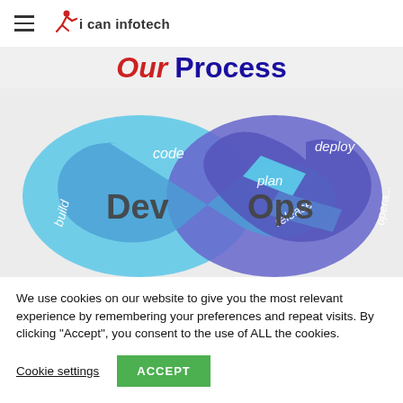i can infotech
Our Process
[Figure (infographic): DevOps infinity loop diagram showing Dev and Ops cycles with labels: code, plan, release, deploy, build, operate]
We use cookies on our website to give you the most relevant experience by remembering your preferences and repeat visits. By clicking “Accept”, you consent to the use of ALL the cookies.
Cookie settings  ACCEPT